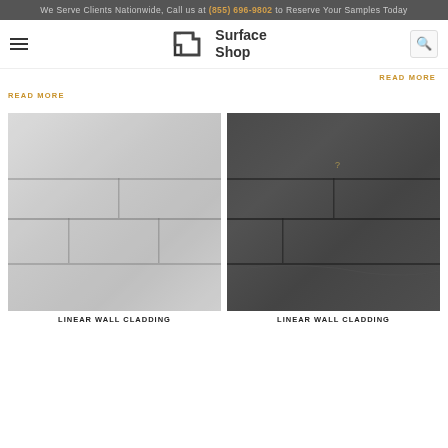We Serve Clients Nationwide, Call us at (855) 696-9802 to Reserve Your Samples Today
[Figure (logo): Surface Shop logo with geometric S icon and text 'Surface Shop']
READ MORE
READ MORE
[Figure (photo): Light grey linear stone wall cladding tiles showing horizontal layered stone pattern]
LINEAR WALL CLADDING
[Figure (photo): Dark grey linear stone wall cladding tiles showing horizontal layered stone pattern]
LINEAR WALL CLADDING